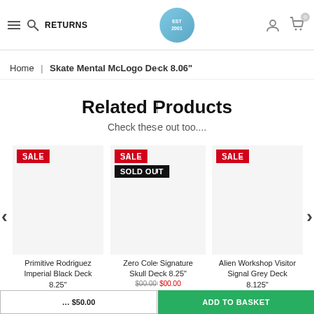RETURNS
Home | Skate Mental McLogo Deck 8.06"
Related Products
Check these out too....
[Figure (screenshot): Three product cards each with SALE badge. Middle card also has SOLD OUT badge. Products: Primitive Rodriguez Imperial Black Deck 8.25", Zero Cole Signature Skull Deck 8.25", Alien Workshop Visitor Signal Grey Deck 8.125"]
Primitive Rodriguez Imperial Black Deck 8.25"
Zero Cole Signature Skull Deck 8.25"
Alien Workshop Visitor Signal Grey Deck 8.125"